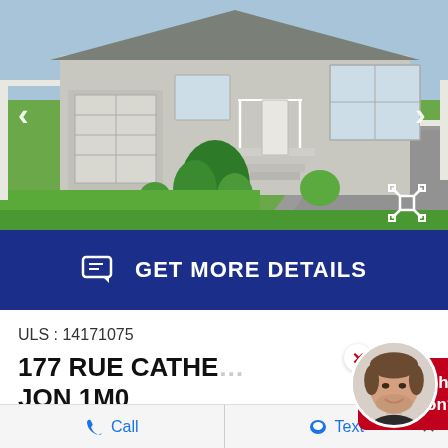[Figure (photo): Exterior photo of a grey brick single-storey house with white trim, garage, white staircase, green shrubs, and paved driveway. Navigation arrows on left and right. Fullscreen icon bottom-right.]
GET MORE DETAILS
ULS : 14171075
177 RUE CATHE...
JON 1M0
Do you have a question?
Call
Text